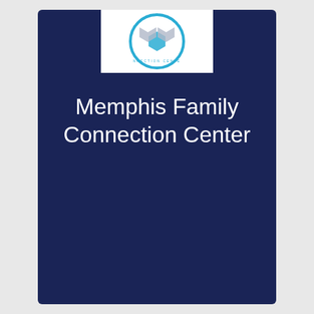[Figure (logo): Memphis Family Connection Center circular logo with teal/blue hexagon shapes and text around the border, on white background]
Memphis Family Connection Center